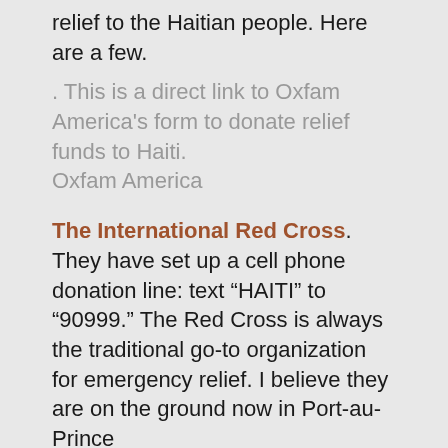relief to the Haitian people. Here are a few.
. This is a direct link to Oxfam America's form to donate relief funds to Haiti.
Oxfam America
The International Red Cross. They have set up a cell phone donation line: text “HAITI” to “90999.” The Red Cross is always the traditional go-to organization for emergency relief. I believe they are on the ground now in Port-au-Prince
Direct Relief International is already heading out the door with relief supplies. On their website they have posted that emergency medical support is en route.
Wyclef Jean has set up a cell phone donation line